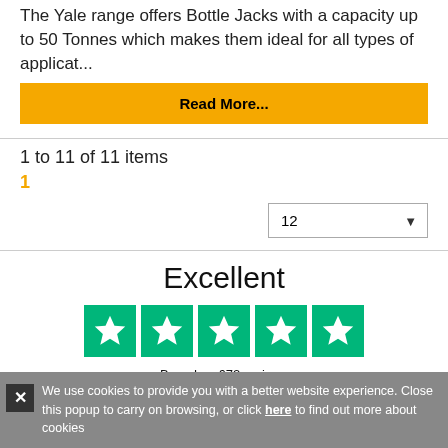The Yale range offers Bottle Jacks with a capacity up to 50 Tonnes which makes them ideal for all types of applicat...
Read More...
1 to 11 of 11 items
1
12
Excellent
[Figure (other): Five green star rating boxes from Trustpilot]
Based on 672 reviews
Trustpilot
We use cookies to provide you with a better website experience. Close this popup to carry on browsing, or click here to find out more about cookies